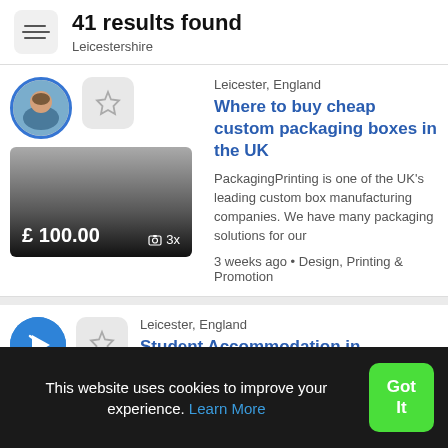41 results found
Leicestershire
Leicester, England
Where to buy cheap custom packaging boxes in the UK
PackagingPrinting is one of the UK's leading custom box manufacturing companies. We have many packaging solutions for our
3 weeks ago • Design, Printing & Promotion
[Figure (photo): Product thumbnail image showing price £ 100.00 and 3 photos indicator]
Leicester, England
Student Accommodation in Leicester | Find Student Housing
This website uses cookies to improve your experience. Learn More
Got It